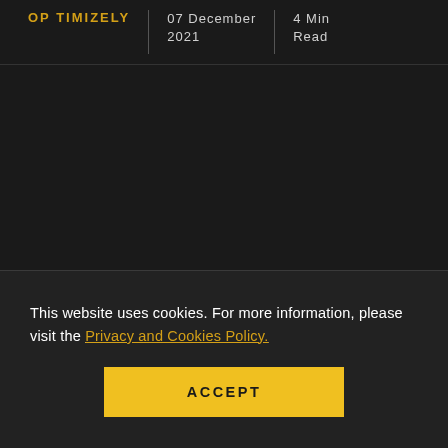OPTIMIZELY | 07 December 2021 | 4 Min Read
[Figure (photo): Large dark image area, content not visible]
This website uses cookies. For more information, please visit the Privacy and Cookies Policy.
ACCEPT